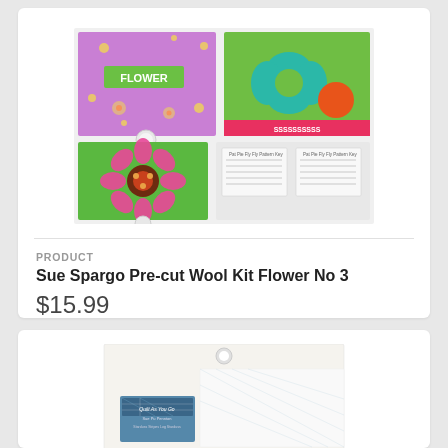[Figure (photo): Product photo of Sue Spargo Pre-cut Wool Kit Flower No 3, showing purple packaging with 'FLOWER' text, green felt with teal flower shape and orange circle, green background with completed floral embroidery piece, and printed pattern sheets]
PRODUCT
Sue Spargo Pre-cut Wool Kit Flower No 3
$15.99
[Figure (photo): Bottom of second product card showing a quilting product package - Quilt As You Go by Sue Spelman, partially visible at bottom of page]